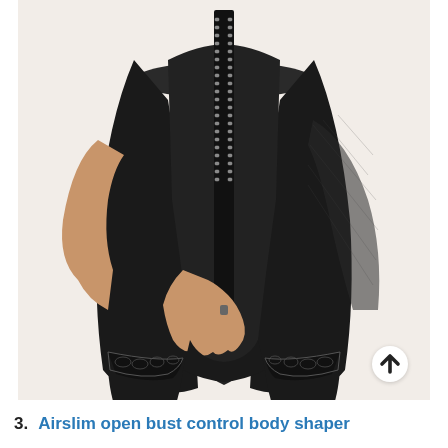[Figure (photo): A woman wearing a black open-bust body shaper/shapewear with hook-and-eye front closure, mesh side panels, and lace trim at the thigh hem. The garment is a mid-thigh length shaping bodysuit. Background is off-white/cream.]
3. Airslim open bust control body shaper